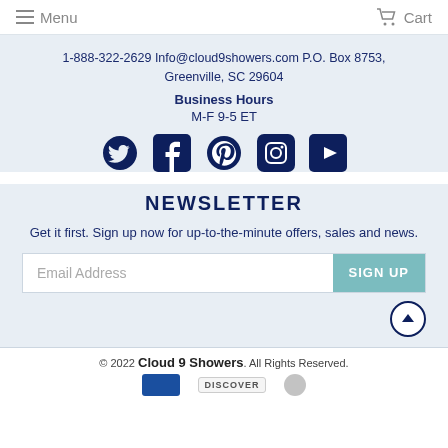Menu  Cart
1-888-322-2629 Info@cloud9showers.com P.O. Box 8753, Greenville, SC 29604
Business Hours
M-F 9-5 ET
[Figure (infographic): Social media icons: Twitter, Facebook, Pinterest, Instagram, YouTube]
NEWSLETTER
Get it first. Sign up now for up-to-the-minute offers, sales and news.
Email Address  SIGN UP
© 2022 Cloud 9 Showers. All Rights Reserved.